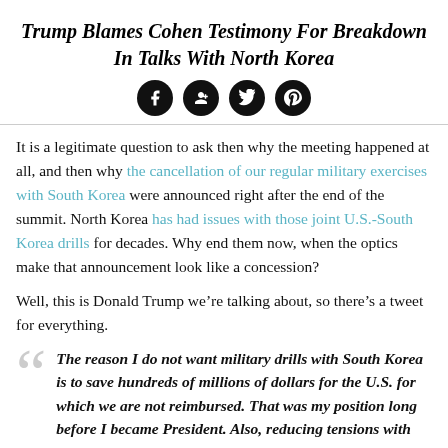Trump Blames Cohen Testimony For Breakdown In Talks With North Korea
[Figure (other): Social media share icons: Facebook, Google+, Twitter, Pinterest]
It is a legitimate question to ask then why the meeting happened at all, and then why the cancellation of our regular military exercises with South Korea were announced right after the end of the summit. North Korea has had issues with those joint U.S.-South Korea drills for decades. Why end them now, when the optics make that announcement look like a concession?
Well, this is Donald Trump we're talking about, so there's a tweet for everything.
The reason I do not want military drills with South Korea is to save hundreds of millions of dollars for the U.S. for which we are not reimbursed. That was my position long before I became President. Also, reducing tensions with